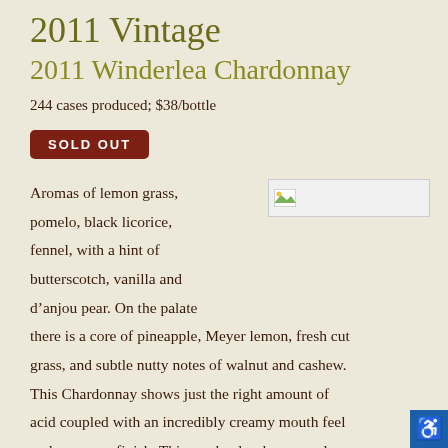2011 Vintage
2011 Winderlea Chardonnay
244 cases produced; $38/bottle
SOLD OUT
[Figure (photo): Broken image placeholder (wine bottle or vineyard photo)]
Aromas of lemon grass, pomelo, black licorice, fennel, with a hint of butterscotch, vanilla and d’anjou pear. On the palate there is a core of pineapple, Meyer lemon, fresh cut grass, and subtle nutty notes of walnut and cashew. This Chardonnay shows just the right amount of acid coupled with an incredibly creamy mouth feel and generous finish. This can be drunk now and